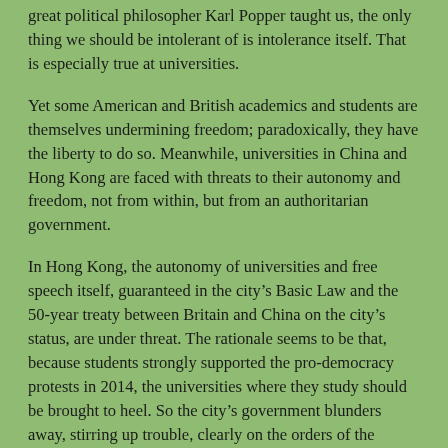great political philosopher Karl Popper taught us, the only thing we should be intolerant of is intolerance itself. That is especially true at universities.
Yet some American and British academics and students are themselves undermining freedom; paradoxically, they have the liberty to do so. Meanwhile, universities in China and Hong Kong are faced with threats to their autonomy and freedom, not from within, but from an authoritarian government.
In Hong Kong, the autonomy of universities and free speech itself, guaranteed in the city's Basic Law and the 50-year treaty between Britain and China on the city's status, are under threat. The rationale seems to be that, because students strongly supported the pro-democracy protests in 2014, the universities where they study should be brought to heel. So the city's government blunders away, stirring up trouble, clearly on the orders of the government in Beijing.
Indeed, the Chinese authorities only recently showed what they think of treaty obligations and of the “golden age” of Sino-British relations (much advertised by British ministers), by abducting a